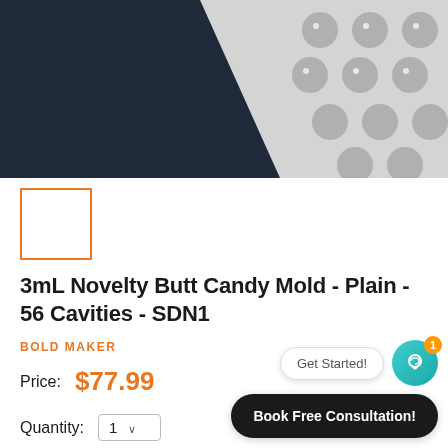[Figure (photo): Product photo of a candy mold tray with heart-shaped cavities on a dark navy background, shown partially from upper right angle]
[Figure (photo): Small thumbnail image placeholder with orange border]
3mL Novelty Butt Candy Mold - Plain - 56 Cavities - SDN1
BOLD MAKER
Price: $77.99
Quantity: 1
Get Started!
Book Free Consultation!